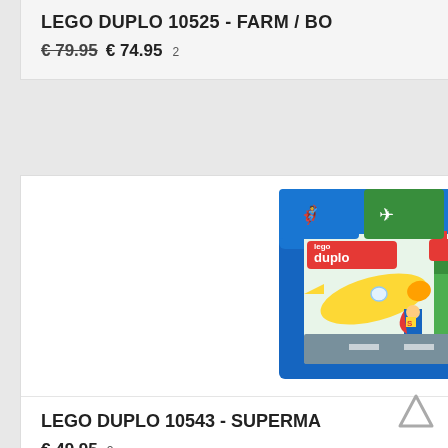LEGO DUPLO 10525 - FARM / BO
€ 79.95  € 74.95  2
[Figure (photo): LEGO Duplo 10543 Superman product box showing Superman minifigure, yellow rocket/plane, and colorful building scene with age range 2-5]
LEGO DUPLO 10543 - SUPERMA
€ 49.95  2